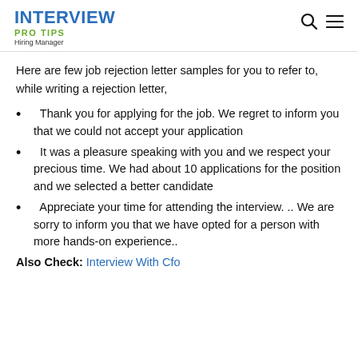INTERVIEW PRO TIPS Hiring Manager
Here are few job rejection letter samples for you to refer to, while writing a rejection letter,
Thank you for applying for the job. We regret to inform you that we could not accept your application
It was a pleasure speaking with you and we respect your precious time. We had about 10 applications for the position and we selected a better candidate
Appreciate your time for attending the interview. .. We are sorry to inform you that we have opted for a person with more hands-on experience..
Also Check: Interview With Cfo